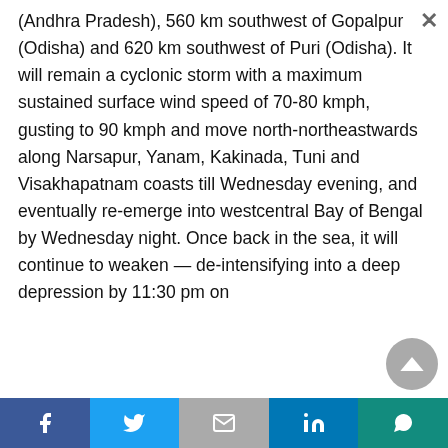(Andhra Pradesh), 560 km southwest of Gopalpur (Odisha) and 620 km southwest of Puri (Odisha). It will remain a cyclonic storm with a maximum sustained surface wind speed of 70-80 kmph, gusting to 90 kmph and move north-northeastwards along Narsapur, Yanam, Kakinada, Tuni and Visakhapatnam coasts till Wednesday evening, and eventually re-emerge into westcentral Bay of Bengal by Wednesday night. Once back in the sea, it will continue to weaken — de-intensifying into a deep depression by 11:30 pm on Wednesday night and then into a depression...
Share bar: Facebook, Twitter, Gmail, LinkedIn, WhatsApp